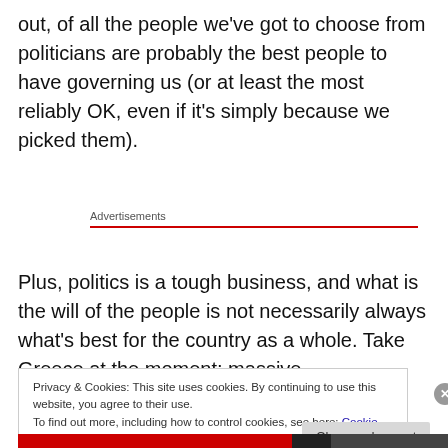out, of all the people we've got to choose from politicians are probably the best people to have governing us (or at least the most reliably OK, even if it's simply because we picked them).
Advertisements
Plus, politics is a tough business, and what is the will of the people is not necessarily always what's best for the country as a whole. Take Greece at the moment; massive
Privacy & Cookies: This site uses cookies. By continuing to use this website, you agree to their use.
To find out more, including how to control cookies, see here: Cookie Policy